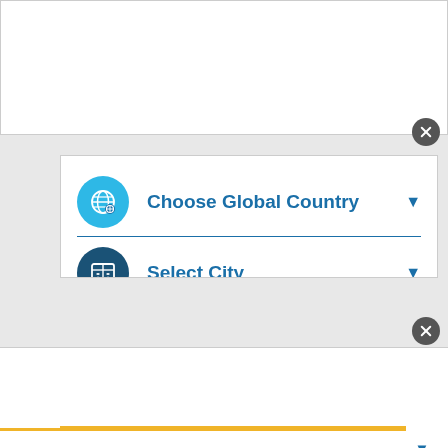[Figure (screenshot): Browser top chrome area - white panel with close button]
[Figure (screenshot): Web UI panel with dropdown selectors for country, city, salary, and job. Contains: 'Choose Global Country' with globe icon, 'Select City' with map icon, 'View Average Salary for Japan' with dollar icon, 'Choose Similar Job' with briefcase icon. Blue dropdown arrows on right.]
This site uses cookies and other similar technologies to provide site functionality, analyze traffic and usage, and